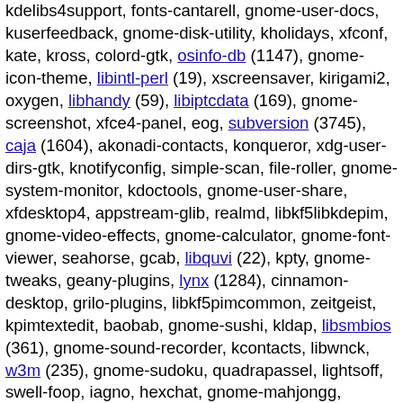kdelibs4support, fonts-cantarell, gnome-user-docs, kuserfeedback, gnome-disk-utility, kholidays, xfconf, kate, kross, colord-gtk, osinfo-db (1147), gnome-icon-theme, libintl-perl (19), xscreensaver, kirigami2, oxygen, libhandy (59), libiptcdata (169), gnome-screenshot, xfce4-panel, eog, subversion (3745), caja (1604), akonadi-contacts, konqueror, xdg-user-dirs-gtk, knotifyconfig, simple-scan, file-roller, gnome-system-monitor, kdoctools, gnome-user-share, xfdesktop4, appstream-glib, realmd, libkf5libkdepim, gnome-video-effects, gnome-calculator, gnome-font-viewer, seahorse, gcab, libquvi (22), kpty, gnome-tweaks, geany-plugins, lynx (1284), cinnamon-desktop, grilo-plugins, libkf5pimcommon, zeitgeist, kpimtextedit, baobab, gnome-sushi, kldap, libsmbios (361), gnome-sound-recorder, kcontacts, libwnck, w3m (235), gnome-sudoku, quadrapassel, lightsoff, swell-foop, iagno, hexchat, gnome-mahjongg, gnome-chess, gnome-mines, ksyntax-highlighting, mutt (1419), xfce4-clipman-plugin, tali, gnome-tetravex, four-in-a-row, hitori, gnome-robots, five-or-more, gnome-klotski,